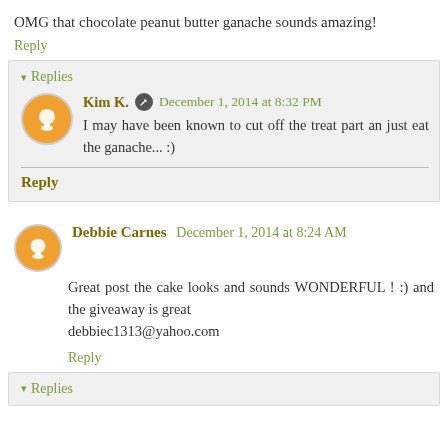OMG that chocolate peanut butter ganache sounds amazing!
Reply
▾ Replies
Kim K. December 1, 2014 at 8:32 PM
I may have been known to cut off the treat part an just eat the ganache... :)
Reply
Debbie Carnes December 1, 2014 at 8:24 AM
Great post the cake looks and sounds WONDERFUL ! :) and the giveaway is great
debbiec1313@yahoo.com
Reply
▾ Replies